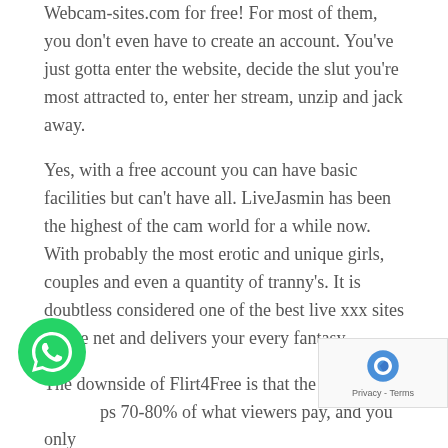Webcam-sites.com for free! For most of them, you don't even have to create an account. You've just gotta enter the website, decide the slut you're most attracted to, enter her stream, unzip and jack away.
Yes, with a free account you can have basic facilities but can't have all. LiveJasmin has been the highest of the cam world for a while now. With probably the most erotic and unique girls, couples and even a quantity of tranny's. It is doubtless considered one of the best live xxx sites on the net and delivers your every fantasy.
The downside of Flirt4Free is that the positioning ps 70-80% of what viewers pay, and you only 0-30%. With the free account you get 10 nutes a month of watching live exhibits. For more you want to buy credits, which price about